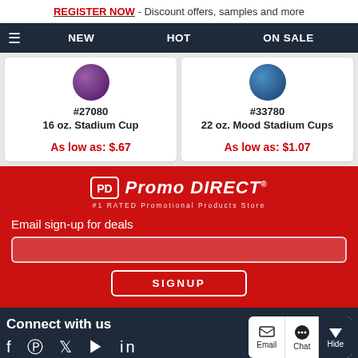REGISTER NOW - Discount offers, samples and more
NEW  HOT  ON SALE
#27080
16 oz. Stadium Cup
As low as: $.67
#33780
22 oz. Mood Stadium Cups
As low as: $1.07
[Figure (logo): Promo Direct logo - PD box with italic text, #1 RATED Promotional Products Store]
Email sign-up for deals
SIGNUP
Connect with us
Email  Chat  Hide